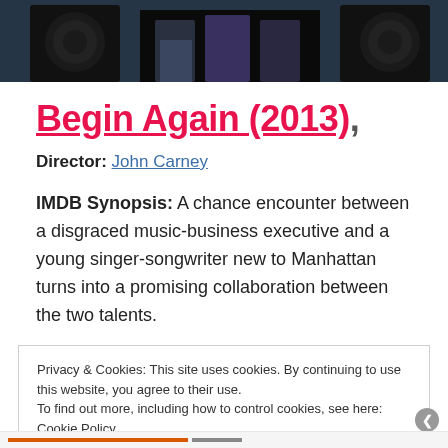[Figure (photo): Top banner photo showing people (band/musicians) in front of dark background, partially cropped]
Begin Again (2013).
Director: John Carney
IMDB Synopsis: A chance encounter between a disgraced music-business executive and a young singer-songwriter new to Manhattan turns into a promising collaboration between the two talents.
Privacy & Cookies: This site uses cookies. By continuing to use this website, you agree to their use.
To find out more, including how to control cookies, see here:
Cookie Policy
Close and accept